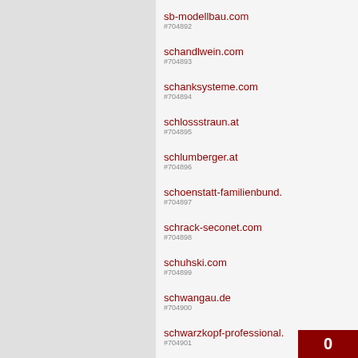#704892 sb-modellbau.com
#704893 schandlwein.com
#704894 schanksysteme.com
#704895 schlossstraun.at
#704896 schlumberger.at
#704897 schoenstatt-familienbund.
#704898 schrack-seconet.com
#704899 schuhski.com
#704900 schwangau.de
#704901 schwarzkopf-professional.
#704902 sciencebusters.at
#704903 seacampatelli.com
#704904 sealand24.at